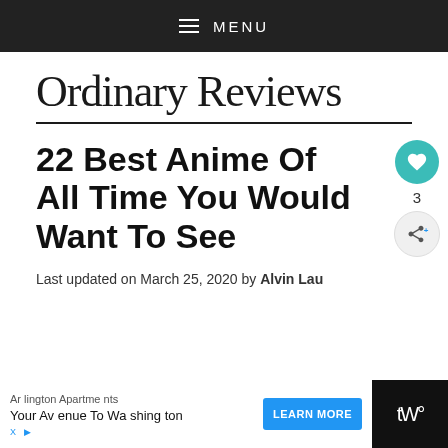≡ MENU
Ordinary Reviews
22 Best Anime Of All Time You Would Want To See
Last updated on March 25, 2020 by Alvin Lau
[Figure (other): Floating action buttons: heart/like button (teal circle) with count 3, and share button (grey circle)]
[Figure (other): Advertisement banner: Arlington Apartments - Your Avenue To Washington, with LEARN MORE button in blue]